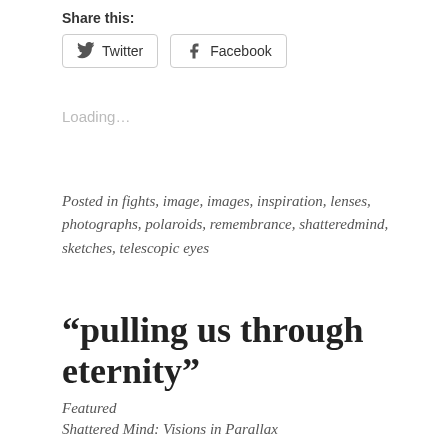Share this:
[Figure (screenshot): Twitter and Facebook share buttons with icons]
Loading...
Posted in fights, image, images, inspiration, lenses, photographs, polaroids, remembrance, shatteredmind, sketches, telescopic eyes
“pulling us through eternity”
Featured
Shattered Mind: Visions in Parallax